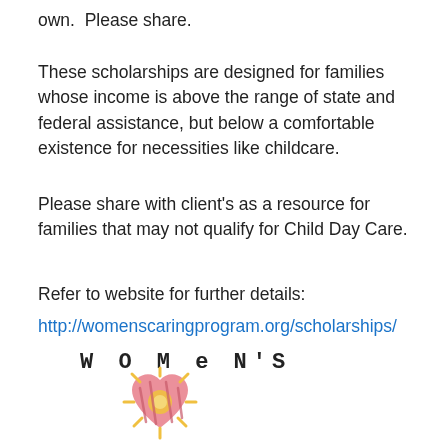own.  Please share.
These scholarships are designed for families whose income is above the range of state and federal assistance, but below a comfortable existence for necessities like childcare.
Please share with client's as a resource for families that may not qualify for Child Day Care.
Refer to website for further details:
http://womenscaringprogram.org/scholarships/
[Figure (logo): Women's Caring Program logo: stylized text 'WOMEN'S' above a pink heart with a yellow sunburst design inside]